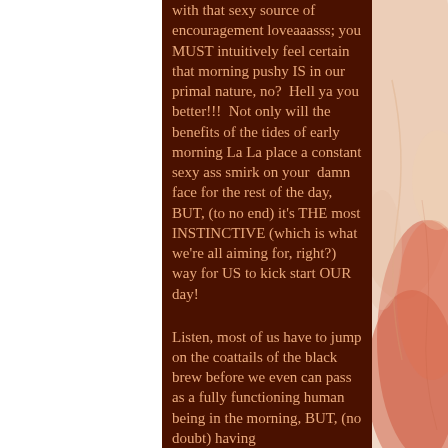with that sexy source of encouragement loveaaasss; you MUST intuitively feel certain that morning pushy IS in our primal nature, no?  Hell ya you better!!!  Not only will the benefits of the tides of early morning La La place a constant sexy ass smirk on your  damn face for the rest of the day, BUT, (to no end) it's THE most INSTINCTIVE (which is what we're all aiming for, right?) way for US to kick start OUR day!
Listen, most of us have to jump on the coattails of the black brew before we even can pass as a fully functioning human being in the morning, BUT, (no doubt) having